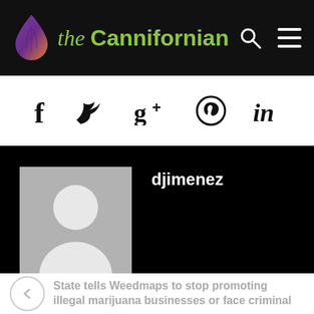[Figure (logo): the Cannifornian logo with leaf droplet icon on black header bar with search and menu icons]
[Figure (infographic): Social media share icons: Facebook (f), Twitter (bird), Google+ (g+), Pinterest (p), LinkedIn (in)]
[Figure (photo): Default user avatar placeholder image - gray background with white silhouette person icon]
djimenez
State tells Weedmaps to stop promoting illegal marijuana businesses or face criminal